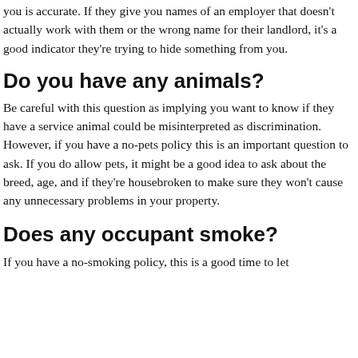you is accurate. If they give you names of an employer that doesn't actually work with them or the wrong name for their landlord, it's a good indicator they're trying to hide something from you.
Do you have any animals?
Be careful with this question as implying you want to know if they have a service animal could be misinterpreted as discrimination. However, if you have a no-pets policy this is an important question to ask. If you do allow pets, it might be a good idea to ask about the breed, age, and if they're housebroken to make sure they won't cause any unnecessary problems in your property.
Does any occupant smoke?
If you have a no-smoking policy, this is a good time to let